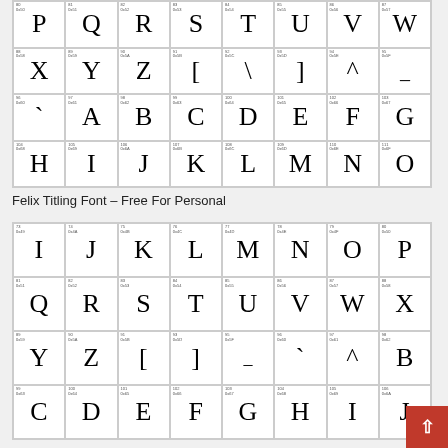[Figure (other): Character map grid showing Felix Titling font characters P Q R S T U V W / X Y Z [ \ ] ^ _ / ` A B C D E F G / H I J K L M N O with decimal and hex codes in each cell]
Felix Titling Font – Free For Personal
[Figure (other): Character map grid showing a second font (elegant serif) characters I J K L M N O P / Q R S T U V W X / Y Z [ ] _ ` ^ A B / C D E F G H I J / K L M N O P Q R with decimal and hex codes in each cell]